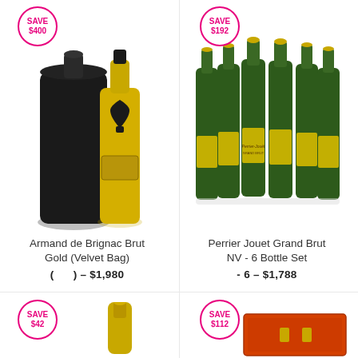[Figure (photo): SAVE $400 badge - pink circle]
[Figure (photo): Armand de Brignac Brut Gold champagne bottle with black velvet bag]
[Figure (photo): SAVE $192 badge - pink circle]
[Figure (photo): Perrier Jouet Grand Brut NV 6 bottle set]
Armand de Brignac Brut Gold (Velvet Bag)
( ) – $1,980
Perrier Jouet Grand Brut NV - 6 Bottle Set
- 6 – $1,788
[Figure (photo): SAVE $42 badge - pink circle]
[Figure (photo): Bottom left champagne bottle partial]
[Figure (photo): SAVE $112 badge - pink circle]
[Figure (photo): Bottom right product in red/orange packaging]